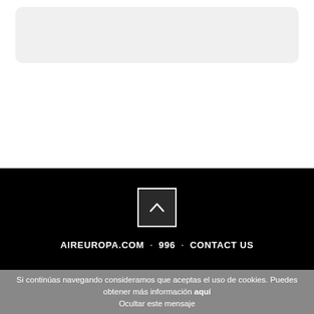[Figure (other): Light gray rounded rectangle card area at top of page]
[Figure (other): Black footer bar with white upward chevron in a dark square box, and navigation links: AIREUROPA.COM, 996, CONTACT US]
AIREUROPA.COM · 996 · CONTACT US
Si continúas navegando consideramos que aceptas el uso de cookies. Puedes obtener más información aquí
Ocultar este mensaje